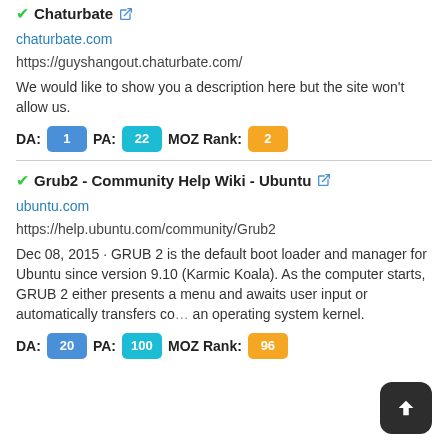✔ Chaturbate 🔗
chaturbate.com
https://guyshangout.chaturbate.com/
We would like to show you a description here but the site won't allow us.
DA: 1  PA: 22  MOZ Rank: 2
✔ Grub2 - Community Help Wiki - Ubuntu 🔗
ubuntu.com
https://help.ubuntu.com/community/Grub2
Dec 08, 2015 · GRUB 2 is the default boot loader and manager for Ubuntu since version 9.10 (Karmic Koala). As the computer starts, GRUB 2 either presents a menu and awaits user input or automatically transfers co... an operating system kernel.
DA: 20  PA: 100  MOZ Rank: 96